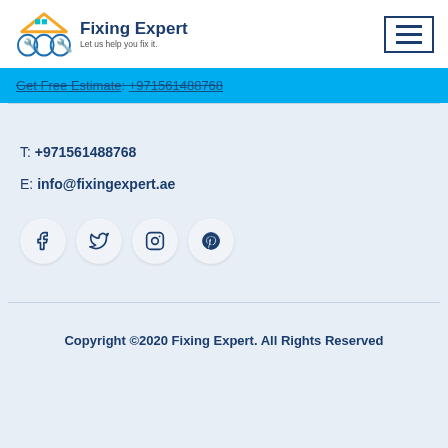[Figure (logo): Fixing Expert logo with wrench/tools icon and house, tagline: Let us help you fix it.]
[Figure (other): Hamburger menu icon (three horizontal lines) in a bordered box]
Get Free Estimate: +971561488768
T: +971561488768
E: info@fixingexpert.ae
[Figure (other): Social media icons: Facebook, Twitter, Instagram, Pinterest in circular buttons]
Copyright ©2020 Fixing Expert. All Rights Reserved